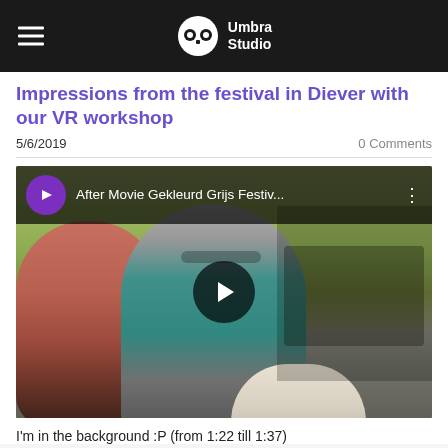Umbra Studio
Impressions from the festival in Diever with our VR workshop
5/6/2019
0 Comments
[Figure (screenshot): YouTube video thumbnail showing After Movie Gekleurd Grijs Festiv... with a play button overlay. Shows people dancing outdoors at a festival with a band in the background.]
I'm in the background :P (from 1:22 till 1:37)